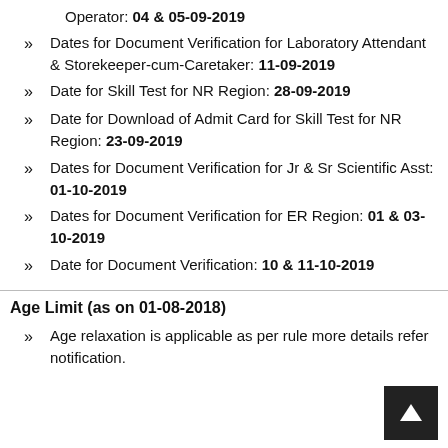Operator: 04 & 05-09-2019
Dates for Document Verification for Laboratory Attendant & Storekeeper-cum-Caretaker: 11-09-2019
Date for Skill Test for NR Region: 28-09-2019
Date for Download of Admit Card for Skill Test for NR Region: 23-09-2019
Dates for Document Verification for Jr & Sr Scientific Asst: 01-10-2019
Dates for Document Verification for ER Region: 01 & 03-10-2019
Date for Document Verification: 10 & 11-10-2019
Age Limit (as on 01-08-2018)
Age relaxation is applicable as per rules. For more details refer notification.